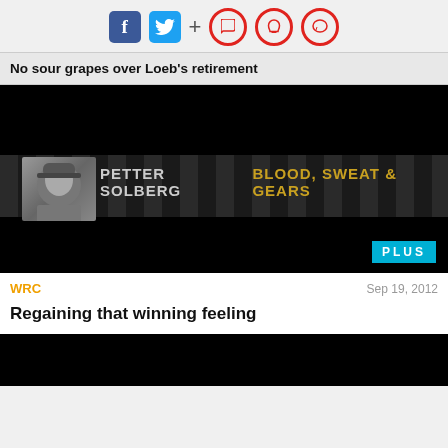[Figure (screenshot): Social media sharing icons: Facebook, Twitter, plus sign, and three red circle icons (bookmark, notification, comment)]
No sour grapes over Loeb's retirement
[Figure (photo): Petter Solberg Blood, Sweat & Gears promotional banner with PLUS badge]
WRC
Sep 19, 2012
Regaining that winning feeling
[Figure (photo): Black image at bottom, partial next article thumbnail]